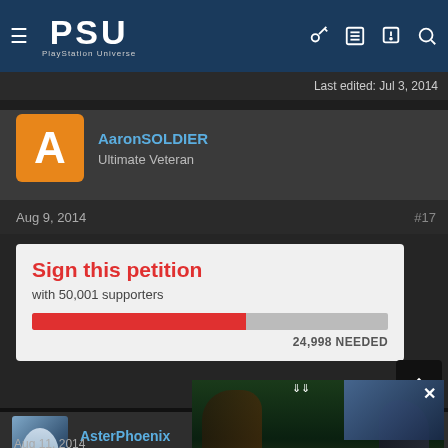PSU PlayStation Universe
Last edited: Jul 3, 2014
AaronSOLDIER
Ultimate Veteran
Aug 9, 2014  #17
[Figure (screenshot): Petition card showing 'Sign this petition' with 50,001 supporters and 24,998 NEEDED, red progress bar]
AsterPhoenix
Elite Member
[Figure (photo): The Horizon Netflix Show advertisement - Will star Aloy and be based on the two games]
Aug 11, 2014
Hopefully we will get some form of respec